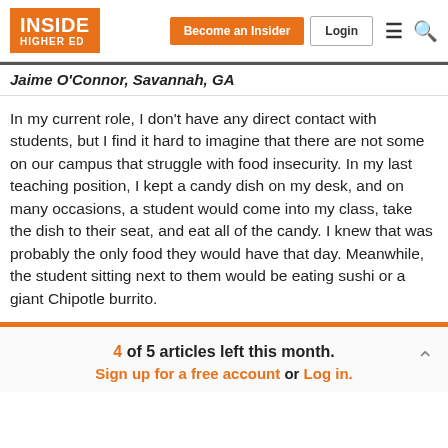INSIDE HIGHER ED | Become an Insider | Login
Jaime O'Connor, Savannah, GA
In my current role, I don't have any direct contact with students, but I find it hard to imagine that there are not some on our campus that struggle with food insecurity. In my last teaching position, I kept a candy dish on my desk, and on many occasions, a student would come into my class, take the dish to their seat, and eat all of the candy. I knew that was probably the only food they would have that day. Meanwhile, the student sitting next to them would be eating sushi or a giant Chipotle burrito.
4 of 5 articles left this month. Sign up for a free account or Log in.